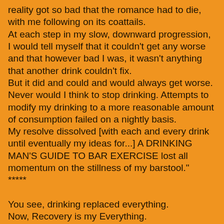reality got so bad that the romance had to die, with me following on its coattails.
At each step in my slow, downward progression, I would tell myself that it couldn't get any worse and that however bad I was, it wasn't anything that another drink couldn't fix.
But it did and could and would always get worse. Never would I think to stop drinking. Attempts to modify my drinking to a more reasonable amount of consumption failed on a nightly basis.
My resolve dissolved [with each and every drink until eventually my ideas for...] A DRINKING MAN'S GUIDE TO BAR EXERCISE lost all momentum on the stillness of my barstool."
*****
You see, drinking replaced everything.
Now, Recovery is my Everything.
*****
Nothing matters more than that we remain sober because when we remain sober everything matters more.
*****
Passages in quotes are excerpted from ALL DRINKING ASIDE: The Destruction, Deconstruction & Reconstruction of an Alcoholic